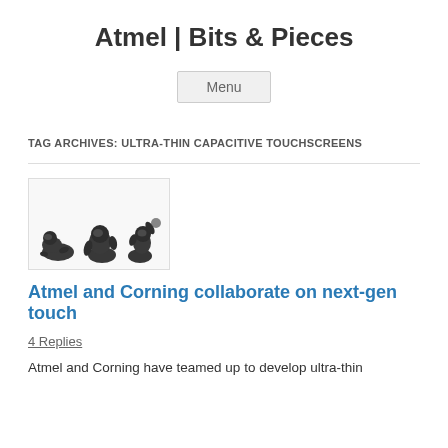Atmel | Bits & Pieces
Menu
TAG ARCHIVES: ULTRA-THIN CAPACITIVE TOUCHSCREENS
[Figure (photo): Three baby gorillas photographed on a white background, appearing to be playing or posing in various positions.]
Atmel and Corning collaborate on next-gen touch
4 Replies
Atmel and Corning have teamed up to develop ultra-thin